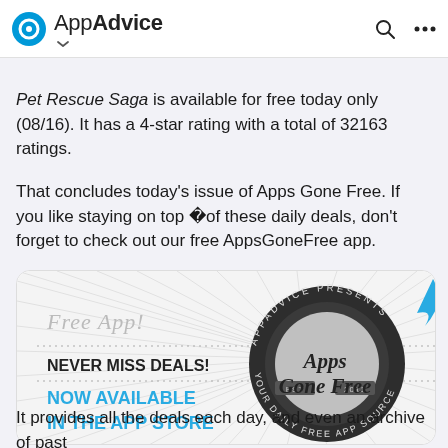AppAdvice
Pet Rescue Saga is available for free today only (08/16). It has a 4-star rating with a total of 32163 ratings.
That concludes today's issue of Apps Gone Free. If you like staying on top � of these daily deals, don't forget to check out our free AppsGoneFree app.
[Figure (logo): Apps Gone Free badge/logo with 'Free App!', 'NEVER MISS DEALS!', 'NOW AVAILABLE IN THE APP STORE' text on the left, and a circular dark badge reading 'Apps Gone Free EST 2011 APPADVICE PRESENTS YOUR DAILY FREE APP SOURCE' on the right, with a blue arrow icon above.]
It provides all the deals each day, and even an archive of past